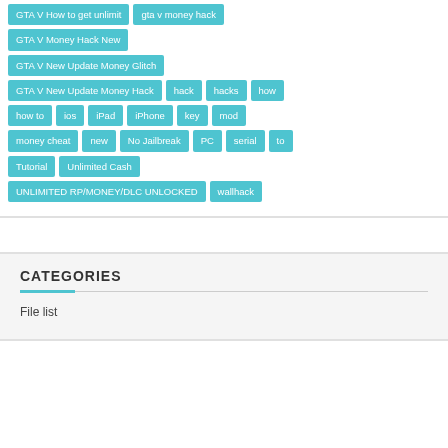GTA V How to get unlimit
gta v money hack
GTA V Money Hack New
GTA V New Update Money Glitch
GTA V New Update Money Hack
hack
hacks
how
how to
ios
iPad
iPhone
key
mod
money cheat
new
No Jailbreak
PC
serial
to
Tutorial
Unlimited Cash
UNLIMITED RP/MONEY/DLC UNLOCKED
wallhack
CATEGORIES
File list